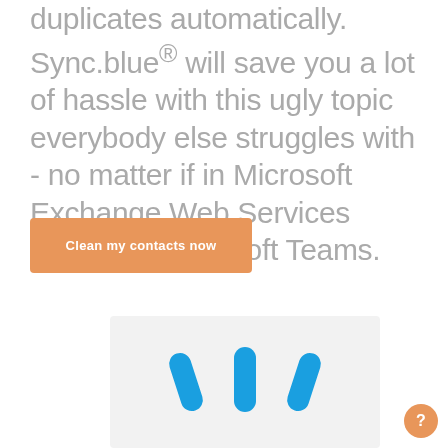duplicates automatically. Sync.blue® will save you a lot of hassle with this ugly topic everybody else struggles with - no matter if in Microsoft Exchange Web Services (EWS) or Microsoft Teams.
Clean my contacts now
[Figure (logo): Three blue diagonal/vertical rounded bar shapes (like a loading or sync indicator) on a light grey background]